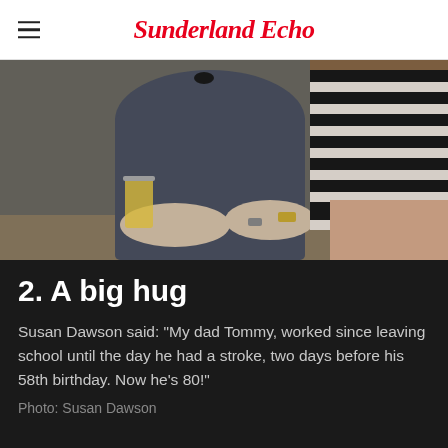Sunderland Echo
[Figure (photo): Two people seated side by side at a table. Person on the left wears a dark grey long-sleeve top, person on the right wears a black and white striped outfit. A glass of orange juice is visible on the left. Indoor setting with wooden background.]
2. A big hug
Susan Dawson said: "My dad Tommy, worked since leaving school until the day he had a stroke, two days before his 58th birthday. Now he's 80!"
Photo: Susan Dawson